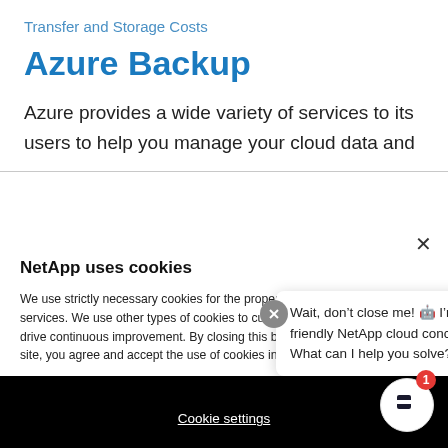Transfer and Storage Costs
Azure Backup
Azure provides a wide variety of services to its users to help you manage your cloud data and
NetApp uses cookies
We use strictly necessary cookies for the proper delivery of our online services. We use other types of cookies to customize experiences and to drive continuous improvement. By closing this banner or by browsing this site, you agree and accept the use of cookies in accordance with our policy.
Wait, don't close me! 🤖 I'm your friendly NetApp cloud concierge. What can I help you solve?
Cookie settings